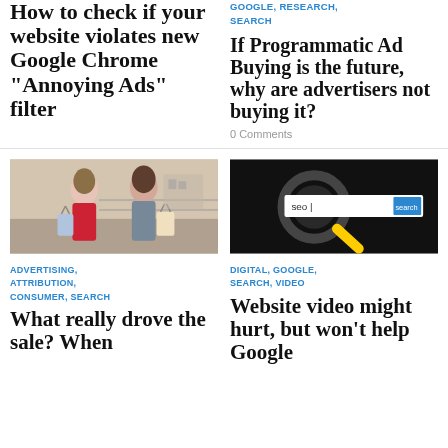How to check if your website violates new Google Chrome “Annoying Ads” filter
GOOGLE, RESEARCH, SEARCH
If Programmatic Ad Buying is the future, why are advertisers not buying it?
0 Comments
[Figure (photo): Two women in colorful dresses carrying shopping bags outdoors]
[Figure (screenshot): Dark background with a magnifying glass, search bar showing 'seo' text and a blue 'search' button, with a yellow pencil]
ADVERTISING, ATTRIBUTION, CONSUMER, SEARCH
DIGITAL, GOOGLE, SEARCH, VIDEO
What really drove the sale? When
Website video might hurt, but won’t help Google